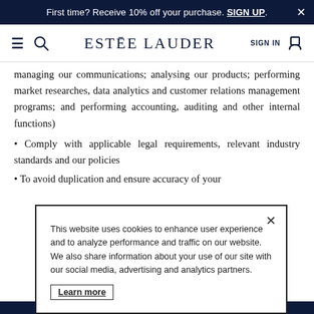First time? Receive 10% off your purchase. SIGN UP.
[Figure (screenshot): Estee Lauder website navigation bar with hamburger menu, search icon, brand logo, SIGN IN and cart icon]
managing our communications; analysing our products; performing market researches, data analytics and customer relations management programs; and performing accounting, auditing and other internal functions)
Comply with applicable legal requirements, relevant industry standards and our policies
To avoid duplication and ensure accuracy of your
This website uses cookies to enhance user experience and to analyze performance and traffic on our website. We also share information about your use of our site with our social media, advertising and analytics partners. Learn more